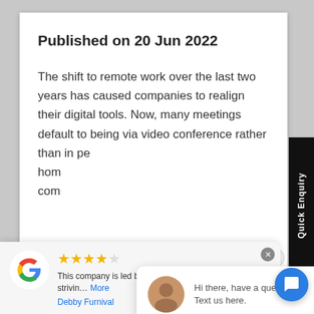Published on 20 Jun 2022
The shift to remote work over the last two years has caused companies to realign their digital tools. Now, many meetings default to being via video conference rather than in pe... hom... com...
Quick Enquiry
close
Hi there, have a question? Text us here.
[Figure (logo): Google logo - colorful G]
★★★★☆
This company is led by a genuine caring owner who is strivin... More
Debby Furnival